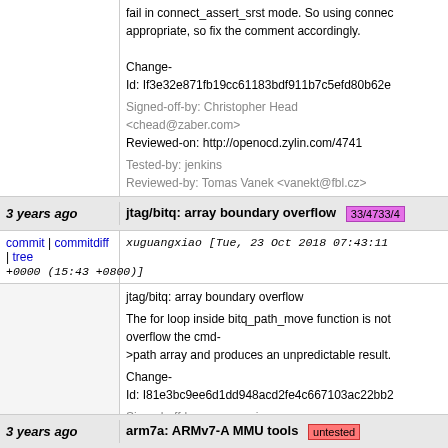fail in connect_assert_srst mode. So using connect is appropriate, so fix the comment accordingly.
Change-Id: If3e32e871fb19cc61183bdf911b7c5efd80b62e
Signed-off-by: Christopher Head <chead@zaber.com>
Reviewed-on: http://openocd.zylin.com/4741
Tested-by: jenkins
Reviewed-by: Tomas Vanek <vanekt@fbl.cz>
3 years ago   jtag/bitq: array boundary overflow  33/4733/4
commit | commitdiff | tree
xuguangxiao [Tue, 23 Oct 2018 07:43:11 +0000 (15:43 +0800)]
jtag/bitq: array boundary overflow

The for loop inside bitq_path_move function is not bounds-checked and may overflow the cmd->path array and produces an unpredictable result.

Change-Id: I81e3bc9ee6d1dd948acd2fe4c667103ac22bb2
Signed-off-by: xuguangxiao <szgxxu@qq.com>
Reviewed-on: http://openocd.zylin.com/4733
Tested-by: jenkins
Reviewed-by: Tomas Vanek <vanekt@fbl.cz>
3 years ago   arm7a: ARMv7-A MMU tools  [truncated]